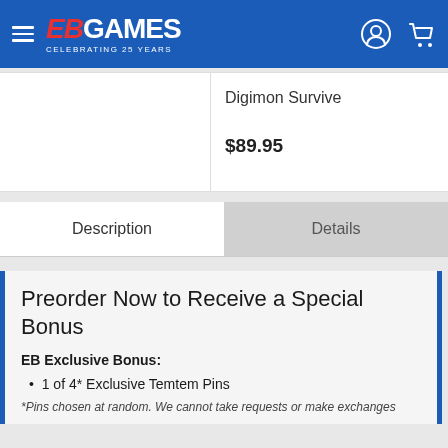[Figure (logo): EB Games logo with 'CELEBRATING 25 YEARS' text on blue header bar with hamburger menu, user icon, and cart icon]
Digimon Survive
$89.95
Description
Details
Preorder Now to Receive a Special Bonus
EB Exclusive Bonus:
1 of 4* Exclusive Temtem Pins
*Pins chosen at random. We cannot take requests or make exchanges